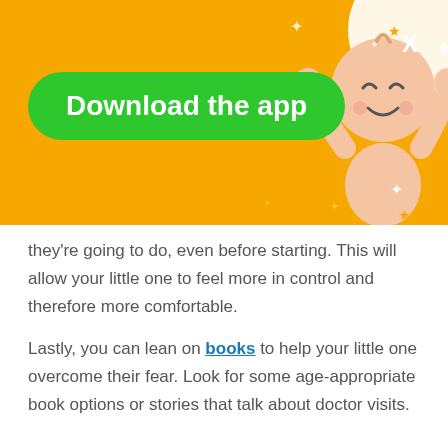[Figure (illustration): Orange banner with 'Download the app' green button, a smiling baby illustration on the right, stars decorations, and a white X close button in the top right corner.]
they're going to do, even before starting. This will allow your little one to feel more in control and therefore more comfortable.
Lastly, you can lean on books to help your little one overcome their fear. Look for some age-appropriate book options or stories that talk about doctor visits.
Support your little one's growth and learning with activities created by child development experts. Download our FREE app!
Fear of people in disguise